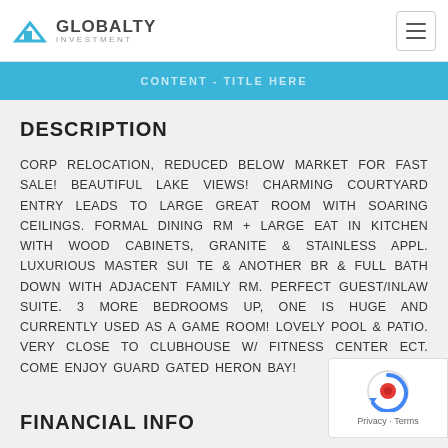GLOBALTY INVESTMENT
DESCRIPTION
CORP RELOCATION, REDUCED BELOW MARKET FOR FAST SALE! BEAUTIFUL LAKE VIEWS! CHARMING COURTYARD ENTRY LEADS TO LARGE GREAT ROOM WITH SOARING CEILINGS. FORMAL DINING RM + LARGE EAT IN KITCHEN WITH WOOD CABINETS, GRANITE & STAINLESS APPL. LUXURIOUS MASTER SUI TE & ANOTHER BR & FULL BATH DOWN WITH ADJACENT FAMILY RM. PERFECT GUEST/INLAW SUITE. 3 MORE BEDROOMS UP, ONE IS HUGE AND CURRENTLY USED AS A GAME ROOM! LOVELY POOL & PATIO. VERY CLOSE TO CLUBHOUSE W/ FITNESS CENTER ECT. COME ENJOY GUARD GATED HERON BAY!
FINANCIAL INFO